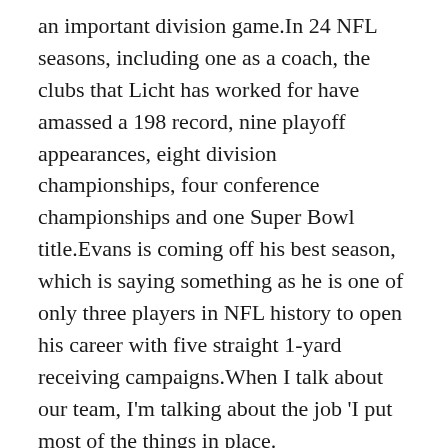an important division game.In 24 NFL seasons, including one as a coach, the clubs that Licht has worked for have amassed a 198 record, nine playoff appearances, eight division championships, four conference championships and one Super Bowl title.Evans is coming off his best season, which is saying something as he is one of only three players in NFL history to open his career with five straight 1-yard receiving campaigns.When I talk about our team, I'm talking about the job 'I put most of the things in place.
Healthy and on a Miami line that allowed him the freedom to attack, Phillips showed why he